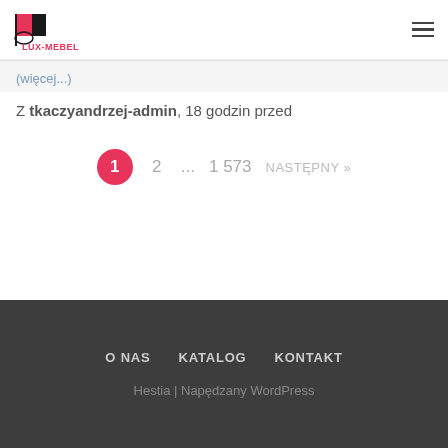LUX-MEBEL
(więcej...)
Z tkaczyandrzej-admin, 18 godzin przed
1  2  ...  1 573  NASTĘPNY »
O NAS  KATALOG  KONTAKT
Hestia | Napędzany WordPress